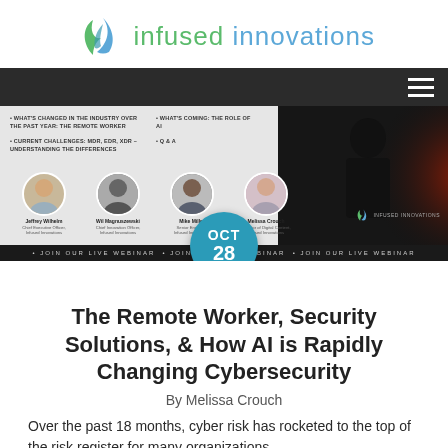[Figure (logo): Infused Innovations logo with green and blue leaf/flame icon and company name in green and blue text]
[Figure (screenshot): Webinar promotional banner showing bullet points about cybersecurity topics (What's Changed in the Industry Over the Past Year: The Remote Worker; Current Challenges: MDR, EDR, XDR - Understanding the Differences; What's Coming: The Role of AI; Q&A), four speaker headshots with names and titles (Jeffrey Wilhelm - Chief Executive Officer Infused Innovations; Wil Magnuszewski - Chief Innovation Officer Infused Innovations; Mike Miller - Senior Engineer Infused Innovations; Melissa Crouch - Director of Digital Content), a dark silhouette figure on the right, and a JOIN OUR LIVE WEBINAR ticker at the bottom. An OCT 28 teal circle badge overlaps the bottom center.]
The Remote Worker, Security Solutions, & How AI is Rapidly Changing Cybersecurity
By Melissa Crouch
Over the past 18 months, cyber risk has rocketed to the top of the risk register for many organizations –